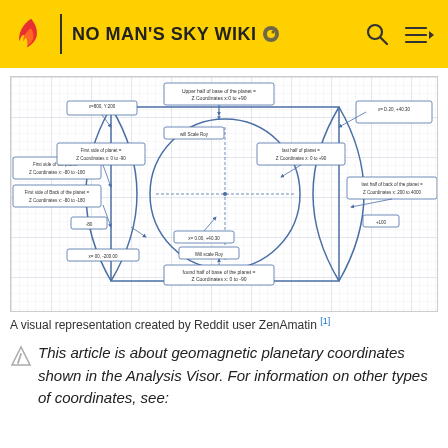NO MAN'S SKY WIKI
[Figure (engineering-diagram): A technical diagram with a grid background showing geometric shapes: a rectangle with two arc/lens shapes on the sides and a large circle in the center. Multiple labeled callout boxes with arrows pointing to specific parts of the diagram, annotating coordinates and features of the planet coordinate system.]
A visual representation created by Reddit user ZenAmatin [1]
This article is about geomagnetic planetary coordinates shown in the Analysis Visor. For information on other types of coordinates, see: